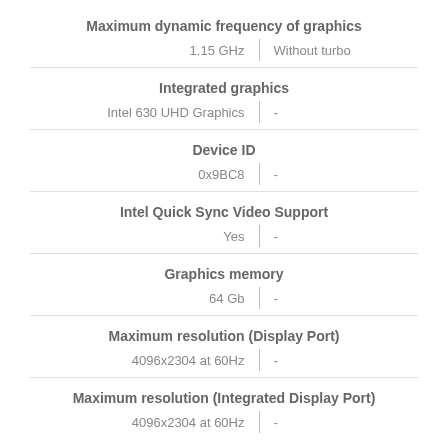Maximum dynamic frequency of graphics
1.15 GHz | Without turbo
Integrated graphics
Intel 630 UHD Graphics | -
Device ID
0x9BC8 | -
Intel Quick Sync Video Support
Yes | -
Graphics memory
64 Gb | -
Maximum resolution (Display Port)
4096x2304 at 60Hz | -
Maximum resolution (Integrated Display Port)
4096x2304 at 60Hz | -